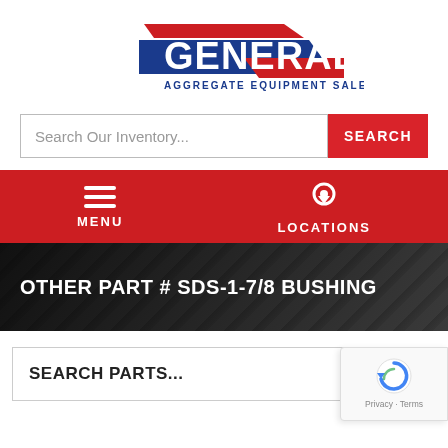[Figure (logo): General Aggregate Equipment Sales logo with red and blue swoosh/bar design and bold GENERAL text in blue]
Search Our Inventory...
SEARCH
MENU
LOCATIONS
OTHER PART # SDS-1-7/8 BUSHING
SEARCH PARTS...